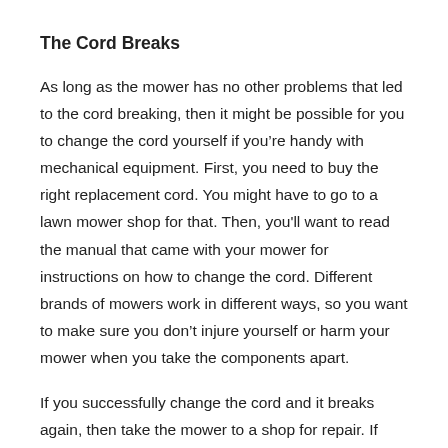The Cord Breaks
As long as the mower has no other problems that led to the cord breaking, then it might be possible for you to change the cord yourself if you’re handy with mechanical equipment. First, you need to buy the right replacement cord. You might have to go to a lawn mower shop for that. Then, you'll want to read the manual that came with your mower for instructions on how to change the cord. Different brands of mowers work in different ways, so you want to make sure you don’t injure yourself or harm your mower when you take the components apart.
If you successfully change the cord and it breaks again, then take the mower to a shop for repair. If